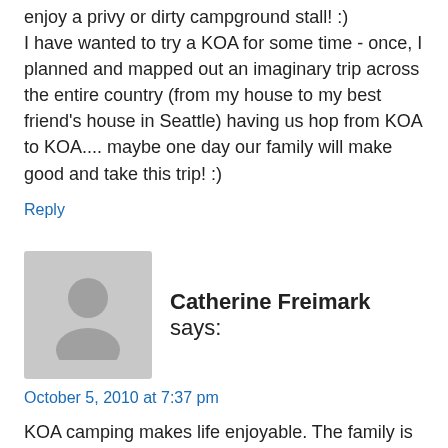HOWEVER, a CLEAN bathroom is a MUST! I do not enjoy a privy or dirty campground stall! :) I have wanted to try a KOA for some time - once, I planned and mapped out an imaginary trip across the entire country (from my house to my best friend's house in Seattle) having us hop from KOA to KOA.... maybe one day our family will make good and take this trip! :)
Reply
Catherine Freimark says:
October 5, 2010 at 7:37 pm
KOA camping makes life enjoyable. The family is in a safe friendly environment with lots of activities usually available and planned. When on a road trip you don't